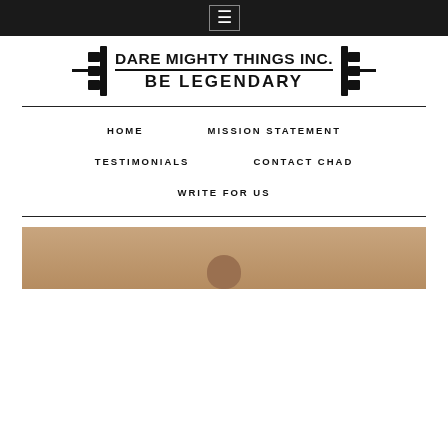☰
[Figure (logo): Dare Mighty Things Inc. Be Legendary logo with barbell graphics on each side]
HOME
MISSION STATEMENT
TESTIMONIALS
CONTACT CHAD
WRITE FOR US
[Figure (photo): Partial photo of a person visible at the bottom of the page, cropped]